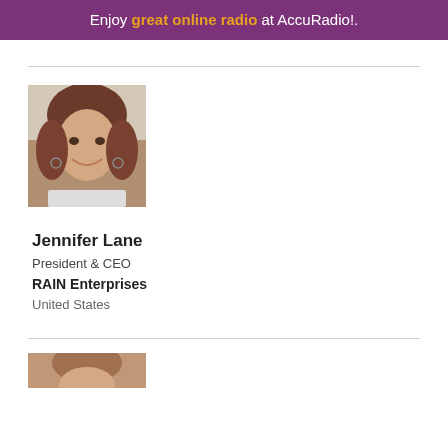Enjoy great online radio at AccuRadio!.
[Figure (photo): Headshot photo of Jennifer Lane, a middle-aged woman with brown hair, smiling]
Jennifer Lane
President & CEO
RAIN Enterprises
United States
[Figure (photo): Partial headshot photo of a second person, partially visible at the bottom of the page]